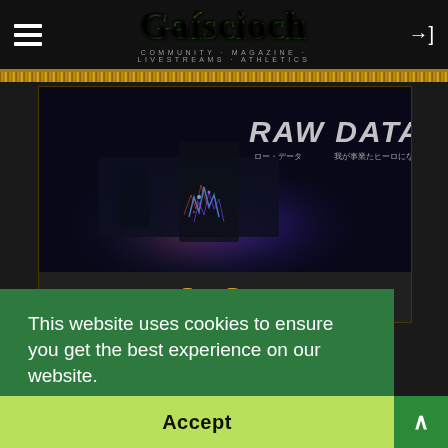Gaíscioch — COMMUNITY · MAGAZINE · LIVESTREAMS · ATHLETICS
[Figure (screenshot): Raw Data game cover image with electric/blue purple energy effect, Japanese text subtitle]
Raw Data
This website uses cookies to ensure you get the best experience on our website.
Learn more
Accept